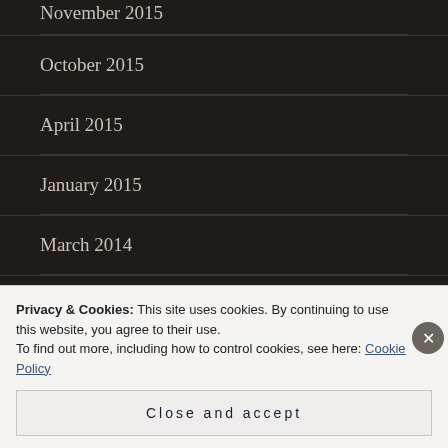November 2015
October 2015
April 2015
January 2015
March 2014
January 2014
BLOGS I FOLLOW
Privacy & Cookies: This site uses cookies. By continuing to use this website, you agree to their use.
To find out more, including how to control cookies, see here: Cookie Policy
Close and accept